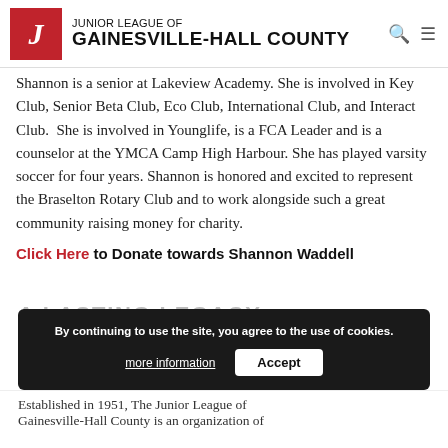Junior League of Gainesville-Hall County
Shannon is a senior at Lakeview Academy. She is involved in Key Club, Senior Beta Club, Eco Club, International Club, and Interact Club. She is involved in Younglife, is a FCA Leader and is a counselor at the YMCA Camp High Harbour. She has played varsity soccer for four years. Shannon is honored and excited to represent the Braselton Rotary Club and to work alongside such a great community raising money for charity.
Click Here to Donate towards Shannon Waddell
By continuing to use the site, you agree to the use of cookies.
A LASTING LEGACY
Established in 1951, The Junior League of Gainesville-Hall County is an organization of